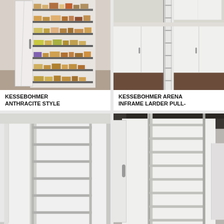[Figure (photo): Kessebohmer Anthracite Style larder pull-out unit shown open with multiple wire shelves loaded with food items in a kitchen setting]
KESSEBOHMER ANTHRACITE STYLE
£790.99
[Figure (photo): Kessebohmer Arena Inframe Larder Pull-out unit shown open with wire shelves in a white kitchen setting]
KESSEBOHMER ARENA INFRAME LARDER PULL-
£455.99
[Figure (photo): Larder pull-out unit shown open with wire shelves in a white kitchen, partially cut off at bottom of page]
[Figure (photo): Larder pull-out unit shown open with chrome wire shelves in a kitchen, partially cut off at bottom of page]